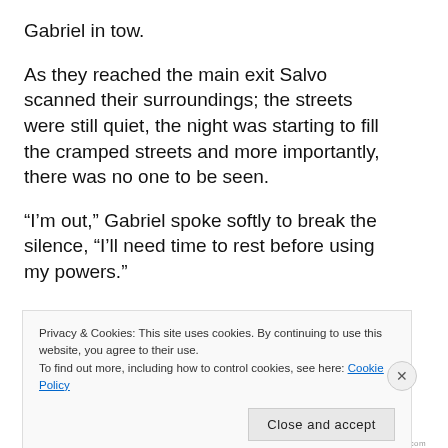Gabriel in tow.
As they reached the main exit Salvo scanned their surroundings; the streets were still quiet, the night was starting to fill the cramped streets and more importantly, there was no one to be seen.
“I’m out,” Gabriel spoke softly to break the silence, “I’ll need time to rest before using my powers.”
Privacy & Cookies: This site uses cookies. By continuing to use this website, you agree to their use.
To find out more, including how to control cookies, see here: Cookie Policy
Close and accept